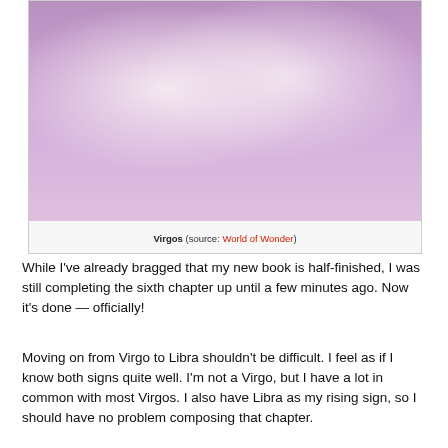[Figure (photo): Two women in sparkly/glamorous outfits and jewelry posing together against a purple/pink background. Both have blonde hair and dramatic makeup including bright pink lipstick. One wears a gold sequin dress, the other a lighter colored outfit.]
Virgos (source: World of Wonder)
While I've already bragged that my new book is half-finished, I was still completing the sixth chapter up until a few minutes ago. Now it's done — officially!
Moving on from Virgo to Libra shouldn't be difficult. I feel as if I know both signs quite well. I'm not a Virgo, but I have a lot in common with most Virgos. I also have Libra as my rising sign, so I should have no problem composing that chapter.